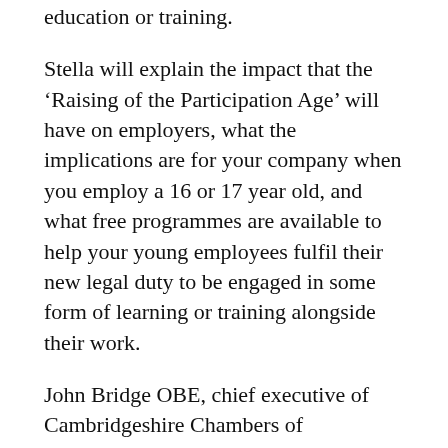education or training.
Stella will explain the impact that the ‘Raising of the Participation Age’ will have on employers, what the implications are for your company when you employ a 16 or 17 year old, and what free programmes are available to help your young employees fulfil their new legal duty to be engaged in some form of learning or training alongside their work.
John Bridge OBE, chief executive of Cambridgeshire Chambers of Commerce, said, “We believe that the skills agenda is key to ensuring a vibrant and innovative environment in which businesses can succeed. Providing young people with access to quality, affordable training is so vital to achieving that, and it is essential that businesses of all sizes understand the changes to the law and the training provisions available so